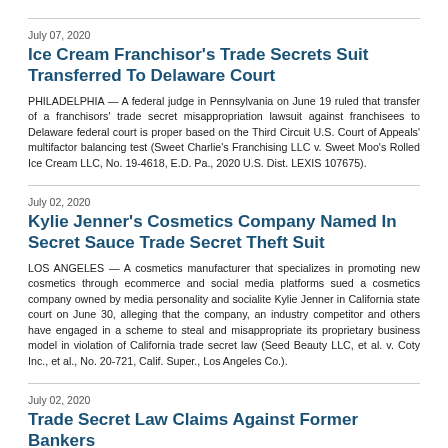July 07, 2020
Ice Cream Franchisor's Trade Secrets Suit Transferred To Delaware Court
PHILADELPHIA — A federal judge in Pennsylvania on June 19 ruled that transfer of a franchisors' trade secret misappropriation lawsuit against franchisees to Delaware federal court is proper based on the Third Circuit U.S. Court of Appeals' multifactor balancing test (Sweet Charlie's Franchising LLC v. Sweet Moo's Rolled Ice Cream LLC, No. 19-4618, E.D. Pa., 2020 U.S. Dist. LEXIS 107675).
July 02, 2020
Kylie Jenner's Cosmetics Company Named In Secret Sauce Trade Secret Theft Suit
LOS ANGELES — A cosmetics manufacturer that specializes in promoting new cosmetics through ecommerce and social media platforms sued a cosmetics company owned by media personality and socialite Kylie Jenner in California state court on June 30, alleging that the company, an industry competitor and others have engaged in a scheme to steal and misappropriate its proprietary business model in violation of California trade secret law (Seed Beauty LLC, et al. v. Coty Inc., et al., No. 20-721, Calif. Super., Los Angeles Co.).
July 02, 2020
Trade Secret Law Claims Against Former Bankers